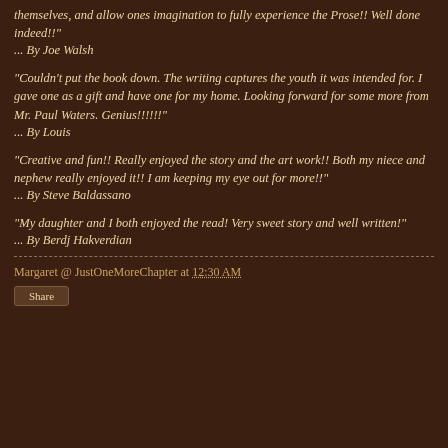themselves, and allow ones imagination to fully experience the Prose!! Well done indeed!!"
... By Joe Walsh
"Couldn't put the book down. The writing captures the youth it was intended for. I gave one as a gift and have one for my home. Looking forward for some more from Mr. Paul Waters. Genius!!!!!!"
... By Louis
"Creative and fun!! Really enjoyed the story and the art work!! Both my niece and nephew really enjoyed it!! I am keeping my eye out for more!!"
... By Steve Baldassano
"My daughter and I both enjoyed the read! Very sweet story and well written!"
... By Berdj Hakverdian
Margaret @ JustOneMoreChapter at 12:30 AM
Share